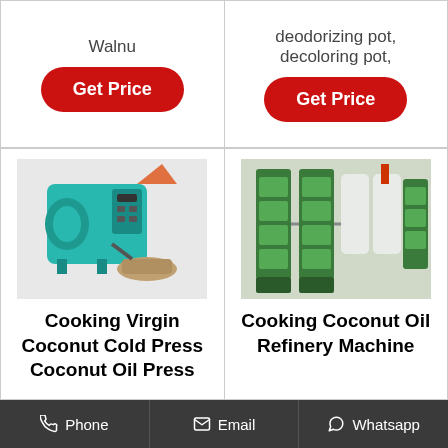Walnu
Get Price
deodorizing pot, decoloring pot,
Get Price
[Figure (photo): Teal/green colored cooking oil press machine]
Cooking Virgin Coconut Cold Press Coconut Oil Press
[Figure (photo): Industrial green cooking coconut oil refinery machine equipment]
Cooking Coconut Oil Refinery Machine
Phone   Email   Whatsapp